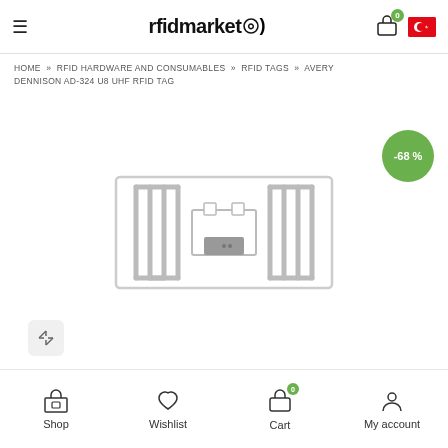rfidmarket · Cart (0) · Turkish flag
HOME » RFID HARDWARE AND CONSUMABLES » RFID TAGS » AVERY DENNISON AD-324 U8 UHF RFID TAG
[Figure (illustration): RFID inlay/tag product image showing the antenna pattern of an Avery Dennison AD-324 U8 UHF RFID Tag — a rectangular label with a serpentine wire antenna and a central chip. A -68% discount badge is shown in the top-right.]
Shop · Wishlist · Cart (0) · My account